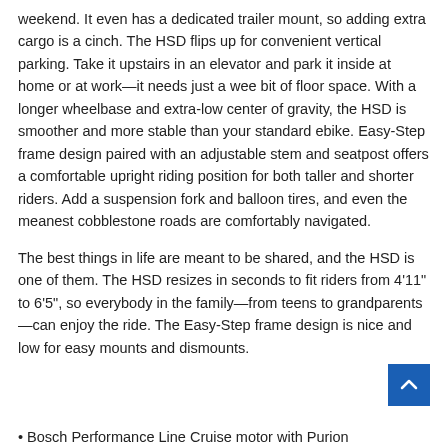weekend. It even has a dedicated trailer mount, so adding extra cargo is a cinch. The HSD flips up for convenient vertical parking. Take it upstairs in an elevator and park it inside at home or at work—it needs just a wee bit of floor space. With a longer wheelbase and extra-low center of gravity, the HSD is smoother and more stable than your standard ebike. Easy-Step frame design paired with an adjustable stem and seatpost offers a comfortable upright riding position for both taller and shorter riders. Add a suspension fork and balloon tires, and even the meanest cobblestone roads are comfortably navigated.
The best things in life are meant to be shared, and the HSD is one of them. The HSD resizes in seconds to fit riders from 4'11" to 6'5", so everybody in the family—from teens to grandparents—can enjoy the ride. The Easy-Step frame design is nice and low for easy mounts and dismounts.
• Bosch Performance Line Cruise motor with Purion